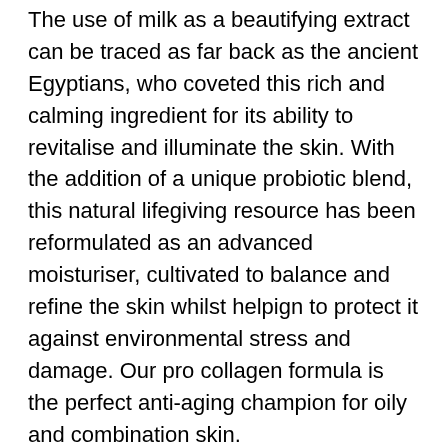The use of milk as a beautifying extract can be traced as far back as the ancient Egyptians, who coveted this rich and calming ingredient for its ability to revitalise and illuminate the skin. With the addition of a unique probiotic blend, this natural lifegiving resource has been reformulated as an advanced moisturiser, cultivated to balance and refine the skin whilst helpign to protect it against environmental stress and damage. Our pro collagen formula is the perfect anti-aging champion for oily and combination skin.
Directions:
In the morning apply after cleansing, at night apply after cleansing and toning. Use as part of your daily Dr Organic skincare regime.
Ingredients: